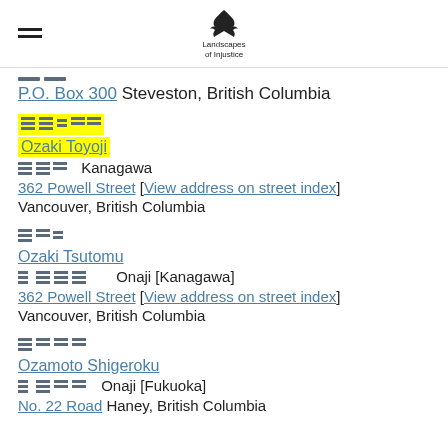Landscapes of Injustice
P.O. Box 300 Steveston, British Columbia
[Japanese characters] Ozaki Toyoji
[Japanese characters] Kanagawa
362 Powell Street [View address on street index]
Vancouver, British Columbia
[Japanese characters] Ozaki Tsutomu
[Japanese characters] Onaji [Kanagawa]
362 Powell Street [View address on street index]
Vancouver, British Columbia
[Japanese characters] Ozamoto Shigeroku
[Japanese characters] Onaji [Fukuoka]
No. 22 Road Haney, British Columbia